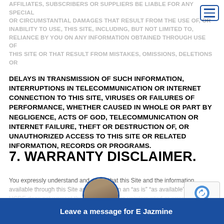AFFILIATES, SUBSCRIBERS OR SUPPLIERS BE LIABLE FOR ANY SPECIAL OR CIRCUMSTANTIAL DAMAGES THAT RESULT FROM THE USE OF, OR INABILITY TO USE, THIS SITE, INCLUDING, BUT NOT LIMITED TO, RELIANCE BY YOU ON ANY INFORMATION OBTAINED THROUGH USE OF THIS SITE OR THAT RESULT FROM MISTAKES, OMISSIONS, DELETIONS OR
DELAYS IN TRANSMISSION OF SUCH INFORMATION, INTERRUPTIONS IN TELECOMMUNICATION OR INTERNET CONNECTION TO THIS SITE, VIRUSES OR FAILURES OF PERFORMANCE, WHETHER CAUSED IN WHOLE OR PART BY NEGLIGENCE, ACTS OF GOD, TELECOMMUNICATION OR INTERNET FAILURE, THEFT OR DESTRUCTION OF, OR UNAUTHORIZED ACCESS TO THIS SITE OR RELATED INFORMATION, RECORDS OR PROGRAMS.
7. WARRANTY DISCLAIMER.
You expressly understand and agree that this Site and the information available through this Site are provided on an “as is” “as available” basis. UCRE does not warrant that this Site will be uninterrupted or error-free, and UCRE makes no warranty as to the accuracy, completeness, authenticity, or reliability of any information available through the Site. UCRE expressly disclaims any and all warranties with respect to the Site and the information available through the Site, including but not limited to implied warranties and the information available through the Site to